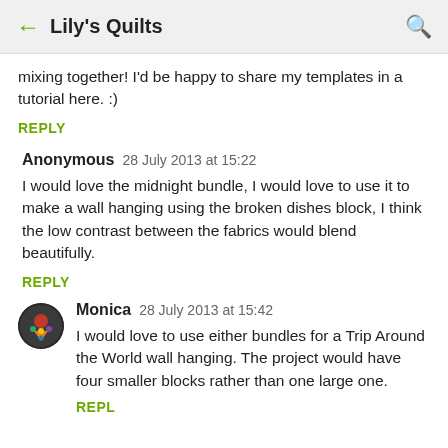← Lily's Quilts 🔍
mixing together! I'd be happy to share my templates in a tutorial here. :)
REPLY
Anonymous  28 July 2013 at 15:22
I would love the midnight bundle, I would love to use it to make a wall hanging using the broken dishes block, I think the low contrast between the fabrics would blend beautifully.
REPLY
[Figure (photo): Avatar icon for user Monica]
Monica  28 July 2013 at 15:42
I would love to use either bundles for a Trip Around the World wall hanging. The project would have four smaller blocks rather than one large one.
REPLY